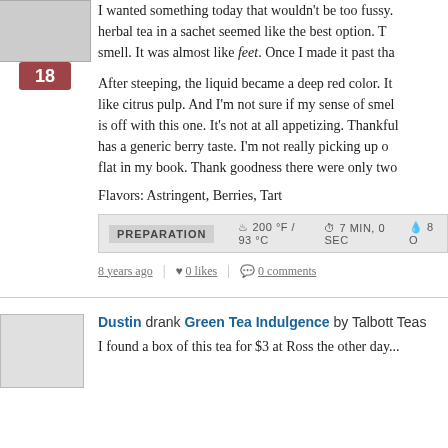[Figure (photo): Product image thumbnail at top left, partially visible]
I wanted something today that wouldn't be too fussy. herbal tea in a sachet seemed like the best option. T smell. It was almost like feet. Once I made it past tha
After steeping, the liquid became a deep red color. It like citrus pulp. And I'm not sure if my sense of smel is off with this one. It's not at all appetizing. Thankful has a generic berry taste. I'm not really picking up o flat in my book. Thank goodness there were only two
Flavors: Astringent, Berries, Tart
PREPARATION  ♨ 200 °F / 93 °C  ⏱ 7 MIN, 0 SEC  💧 8 O
8 years ago | ♥ 0 likes | 💬 0 comments
Dustin drank Green Tea Indulgence by Talbott Teas
I found a box of this tea for $3 at Ross the other day...